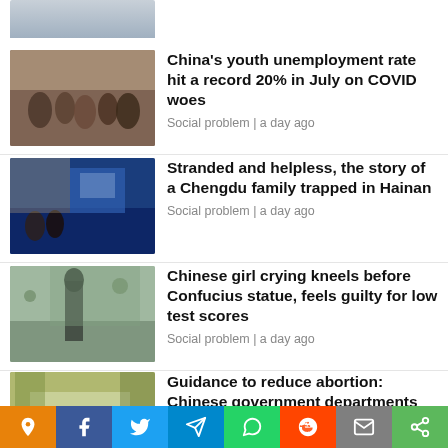[Figure (photo): Partial top image of a crowd scene, cropped]
[Figure (photo): Crowd of people at what appears to be a job fair or public event]
China's youth unemployment rate hit a record 20% in July on COVID woes
Social problem | a day ago
[Figure (photo): People standing near large screens in a public space]
Stranded and helpless, the story of a Chengdu family trapped in Hainan
Social problem | a day ago
[Figure (photo): Confucius statue outdoors with trees in the background]
Chinese girl crying kneels before Confucius statue, feels guilty for low test scores
Social problem | a day ago
[Figure (photo): Interior room scene, person near a table]
Guidance to reduce abortion: Chinese government departments are now pushing
[Figure (infographic): Social share bar with icons: location pin, Facebook, Twitter, Telegram, WhatsApp, Reddit, email, share]